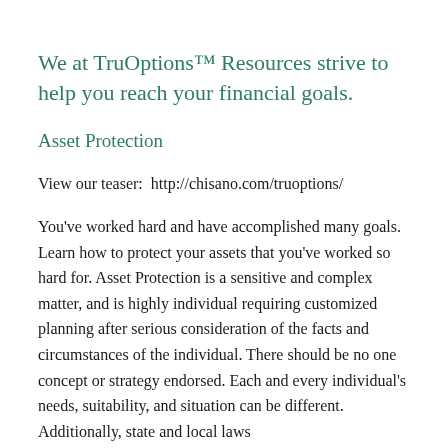We at TruOptions™ Resources strive to help you reach your financial goals.
Asset Protection
View our teaser:  http://chisano.com/truoptions/
You've worked hard and have accomplished many goals. Learn how to protect your assets that you've worked so hard for. Asset Protection is a sensitive and complex matter, and is highly individual requiring customized planning after serious consideration of the facts and circumstances of the individual. There should be no one concept or strategy endorsed. Each and every individual's needs, suitability, and situation can be different. Additionally, state and local laws